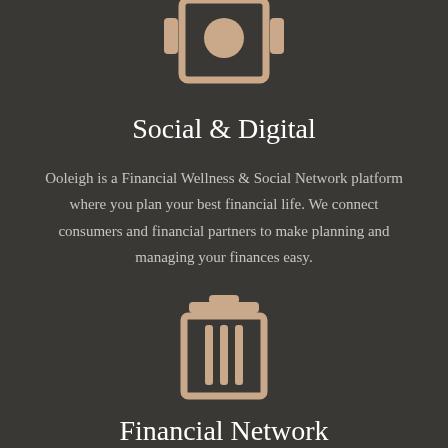[Figure (illustration): Icon of a mobile phone / camera device in tan/beige color, partially cropped at top]
Social & Digital
Ooleigh is a Financial Wellness & Social Network platform where you plan your best financial life. We connect consumers and financial partners to make planning and managing your finances easy.
[Figure (illustration): Icon of a trash can / delete bin in tan/beige color]
Financial Network